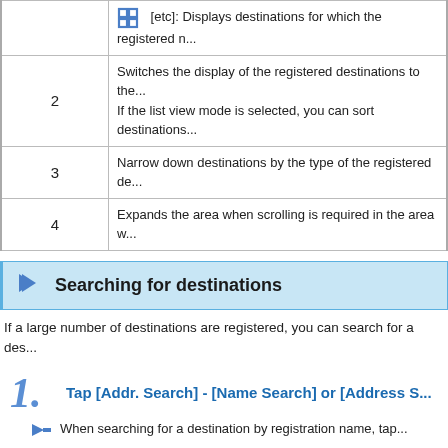|  |  |
| --- | --- |
|  | [etc]: Displays destinations for which the registered n... |
| 2 | Switches the display of the registered destinations to the...
If the list view mode is selected, you can sort destinations... |
| 3 | Narrow down destinations by the type of the registered de... |
| 4 | Expands the area when scrolling is required in the area w... |
Searching for destinations
If a large number of destinations are registered, you can search for a des...
1. Tap [Addr. Search] - [Name Search] or [Address S...
When searching for a destination by registration name, tap...
When searching for a destination by E-mail address or com...
2. Enter the text you want to search for, then tap [Se...